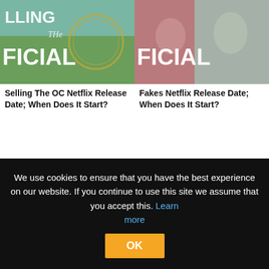[Figure (photo): Selling The OC Netflix show thumbnail with aerial view and text overlay showing FICIAL]
[Figure (photo): Fakes Netflix show thumbnail with two people in robes showing FICIAL text overlay]
Selling The OC Netflix Release Date; When Does It Start?
Fakes Netflix Release Date; When Does It Start?
[Figure (photo): Anime style artwork with purple and pink neon lights, female character]
[Figure (photo): Dark scene with person inside a car, looking through window]
We use cookies to ensure that you have the best experience on our website. If you continue to use this site we assume that you accept this. Learn more
OK